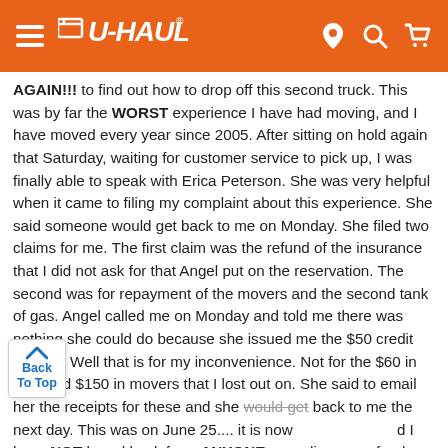U-HAUL
AGAIN!!! to find out how to drop off this second truck. This was by far the WORST experience I have had moving, and I have moved every year since 2005. After sitting on hold again that Saturday, waiting for customer service to pick up, I was finally able to speak with Erica Peterson. She was very helpful when it came to filing my complaint about this experience. She said someone would get back to me on Monday. She filed two claims for me. The first claim was the refund of the insurance that I did not ask for that Angel put on the reservation. The second was for repayment of the movers and the second tank of gas. Angel called me on Monday and told me there was nothing she could do because she issued me the $50 credit already. Well that is for my inconvenience. Not for the $60 in gas, and $150 in movers that I lost out on. She said to email her the receipts for these and she would get back to me the next day. This was on June 25.... it is now and I have NOT heard back from ANYONE regarding my refund ate on my claim. I HOPE THAT THIS CATCHES SOMEONES ATTENTION AND THEY RETURN MY CALL REGARDING THIS. I WILL BE REACHING OUT TO HIGHER UPS IF NEED BE.